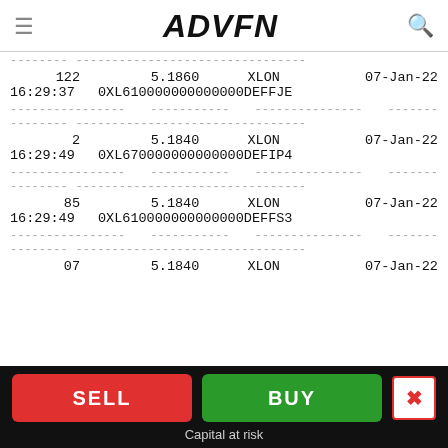ADVFN
| Qty | Price | Exchange | Date | Time | TradeID |
| --- | --- | --- | --- | --- | --- |
| 122 | 5.1860 | XLON | 07-Jan-22 | 16:29:37 | 0XL610000000000000DEFFJE |
| 2 | 5.1840 | XLON | 07-Jan-22 | 16:29:49 | 0XL670000000000000DEFIP4 |
| 85 | 5.1840 | XLON | 07-Jan-22 | 16:29:49 | 0XL610000000000000DEFFS3 |
| 07 | 5.1840 | XLON | 07-Jan-22 |  |  |
SELL | BUY | Capital at risk